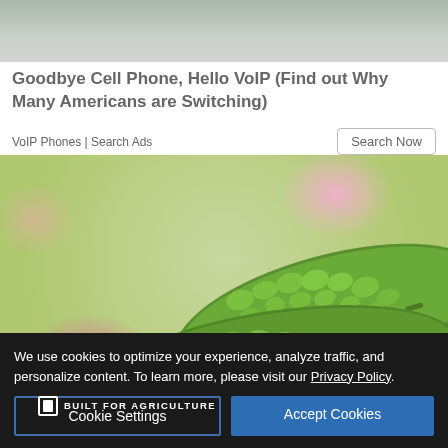[Figure (photo): Partial view of image at top of page, appears to be a blurred background photo]
Goodbye Cell Phone, Hello VoIP (Find out Why Many Americans are Switching)
VoIP Phones | Search Ads
[Figure (photo): Close-up photo of bitter melon (bumpy green vegetable) against a colorful blurred background of pink and green]
[Figure (photo): American AgCredit advertisement banner showing industrial agricultural facility with text BUILT FOR AGRICULTURE and the American AgCredit logo on green background]
We use cookies to optimize your experience, analyze traffic, and personalize content. To learn more, please visit our Privacy Policy.